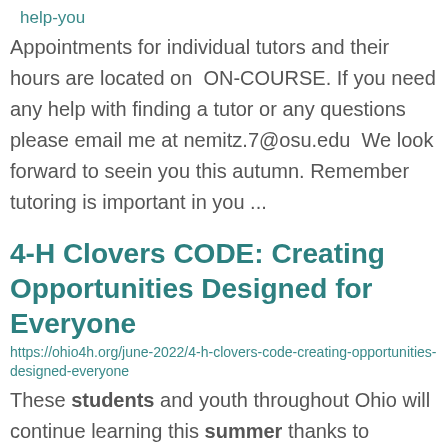help-you
Appointments for individual tutors and their hours are located on ON-COURSE. If you need any help with finding a tutor or any questions please email me at nemitz.7@osu.edu We look forward to seeing you this autumn. Remember tutoring is important in you ...
4-H Clovers CODE: Creating Opportunities Designed for Everyone
https://ohio4h.org/june-2022/4-h-clovers-code-creating-opportunities-designed-everyone
These students and youth throughout Ohio will continue learning this summer thanks to